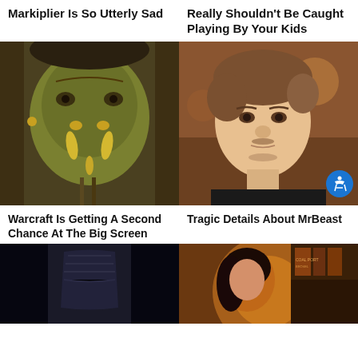Markiplier Is So Utterly Sad
Really Shouldn't Be Caught Playing By Your Kids
[Figure (photo): Close-up of an orc character with tusks and facial piercings from the Warcraft movie]
[Figure (photo): Young man with light beard looking sideways, MrBeast, in a dark setting]
Warcraft Is Getting A Second Chance At The Big Screen
Tragic Details About MrBeast
[Figure (photo): Dark figure in armor, partially visible at bottom of page]
[Figure (photo): Woman with dark hair surrounded by glowing golden light and books, partially visible at bottom of page]